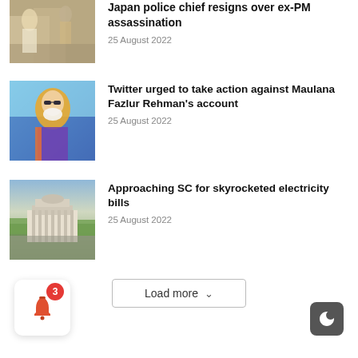[Figure (photo): Partially visible news thumbnail - people in outdoor setting]
Japan police chief resigns over ex-PM assassination
25 August 2022
[Figure (photo): Man with beard and sunglasses wearing colorful attire - Maulana Fazlur Rehman]
Twitter urged to take action against Maulana Fazlur Rehman's account
25 August 2022
[Figure (photo): Aerial view of a large government building - Supreme Court of Pakistan]
Approaching SC for skyrocketed electricity bills
25 August 2022